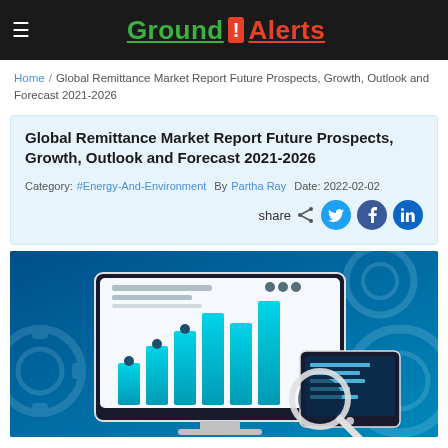Ground ! Alerts
Home / Global Remittance Market Report Future Prospects, Growth, Outlook and Forecast 2021-2026
Global Remittance Market Report Future Prospects, Growth, Outlook and Forecast 2021-2026
Category: #Energy-And-Environment  By Partha Ray  Date: 2022-02-02
[Figure (illustration): Illustration of a computer monitor displaying a bar chart with rising teal bars and data visualizations, alongside a tablet with analytics, magnifying glass, and gear/cog decorative elements in the background, all on a blue gradient background.]